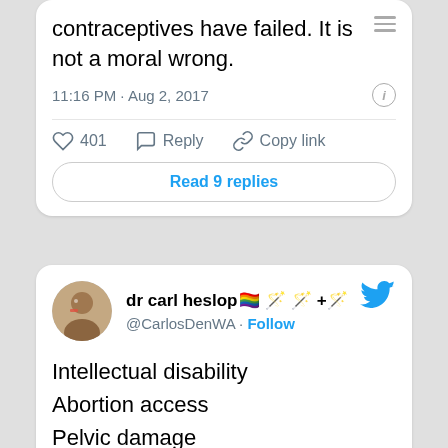contraceptives have failed. It is not a moral wrong.
11:16 PM · Aug 2, 2017
401  Reply  Copy link
Read 9 replies
dr carl heslop🏳️‍🌈 🪄 🪄 + 🪄 @CarlosDenWA · Follow
Intellectual disability
Abortion access
Pelvic damage
Eugenics
Heavy and important session
#sexrurality